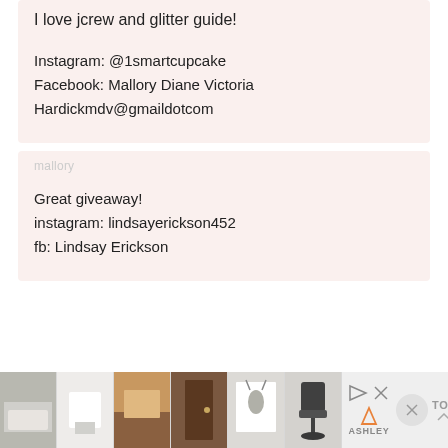I love jcrew and glitter guide!

Instagram: @1smartcupcake
Facebook: Mallory Diane Victoria
Hardickmdv@gmaildotcom
author label (faded)
Great giveaway!
instagram: lindsayerickson452
fb: Lindsay Erickson
[Figure (screenshot): Advertisement bar at the bottom showing interior/furniture images from Ashley furniture brand, with close button and TOP navigation]